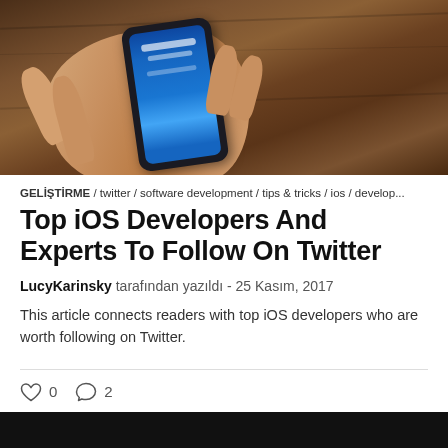[Figure (photo): Hand holding a smartphone with blue screen, on a wooden table background]
GELİŞTİRME / twitter / software development / tips & tricks / ios / develop...
Top iOS Developers And Experts To Follow On Twitter
LucyKarinsky tarafından yazıldı - 25 Kasım, 2017
This article connects readers with top iOS developers who are worth following on Twitter.
♡ 0   ○ 2
[Figure (photo): Black banner/image at the bottom of page]